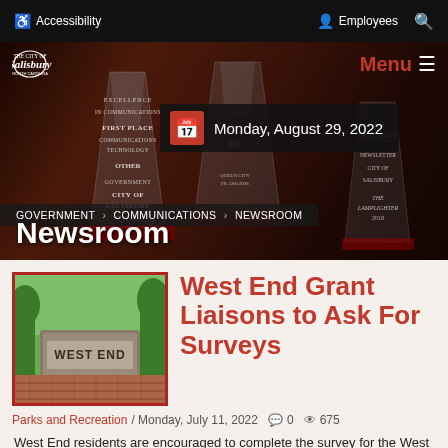Accessibility  Employees  Search
[Figure (screenshot): City of Salisbury website hero banner with award trophies in background, date badge showing Monday, August 29, 2022, breadcrumb navigation GOVERNMENT > COMMUNICATIONS > NEWSROOM, and Newsroom title overlay]
West End Grant Liaisons to Ask For Surveys
Parks and Recreation / Monday, July 11, 2022  0  675
West End residents are encouraged to complete the survey for the West End Salisbury Transformed Empowered Neighborhood